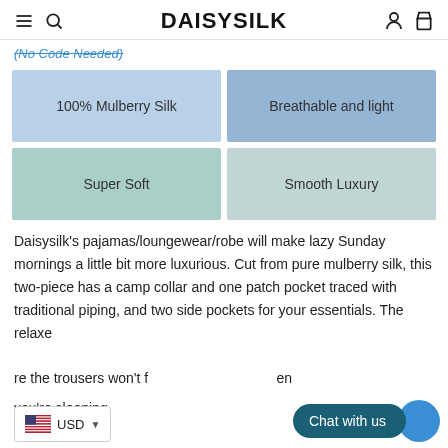DAISYSILK
(No Code Needed)
100% Mulberry Silk
Breathable and light
Super Soft
Smooth Luxury
Daisysilk's pajamas/loungewear/robe will make lazy Sunday mornings a little bit more luxurious. Cut from pure mulberry silk, this two-piece has a camp collar and one patch pocket traced with traditional piping, and two side pockets for your essentials. The relaxed fit means the trousers won't feel restrictive even when you're sleeping.